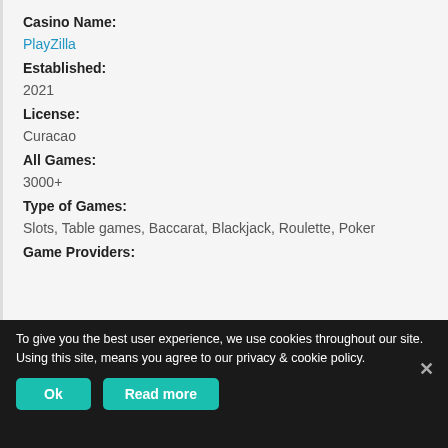Casino Name:
PlayZilla
Established:
2021
License:
Curacao
All Games:
3000+
Type of Games:
Slots, Table games, Baccarat, Blackjack, Roulette, Poker
Game Providers:
To give you the best user experience, we use cookies throughout our site. Using this site, means you agree to our privacy & cookie policy.
Ok
Read more